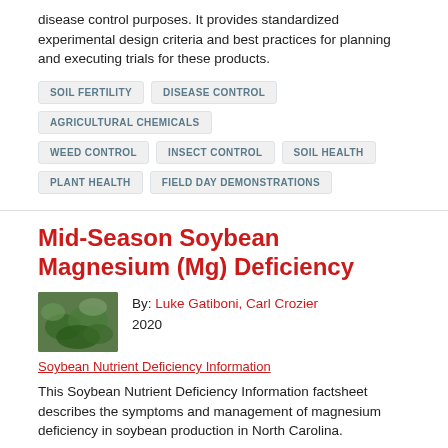disease control purposes. It provides standardized experimental design criteria and best practices for planning and executing trials for these products.
SOIL FERTILITY
DISEASE CONTROL
AGRICULTURAL CHEMICALS
WEED CONTROL
INSECT CONTROL
SOIL HEALTH
PLANT HEALTH
FIELD DAY DEMONSTRATIONS
Mid-Season Soybean Magnesium (Mg) Deficiency
By: Luke Gatiboni, Carl Crozier
2020
Soybean Nutrient Deficiency Information
This Soybean Nutrient Deficiency Information factsheet describes the symptoms and management of magnesium deficiency in soybean production in North Carolina.
SOYBEANS
SOIL FERTILITY
SOIL NUTRIENTS
SOYBEAN PRODUCTION
FIELD CROPS
MAGNESIUM